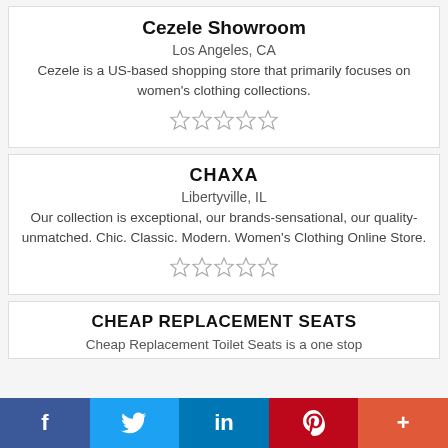Cezele Showroom
Los Angeles, CA
Cezele is a US-based shopping store that primarily focuses on women's clothing collections.
[Figure (other): 5 empty grey stars rating]
CHAXA
Libertyville, IL
Our collection is exceptional, our brands-sensational, our quality- unmatched. Chic. Classic. Modern. Women's Clothing Online Store.
[Figure (other): 5 empty grey stars rating]
CHEAP REPLACEMENT SEATS
Cheap Replacement Toilet Seats is a one stop
f  (twitter bird)  in  P  +